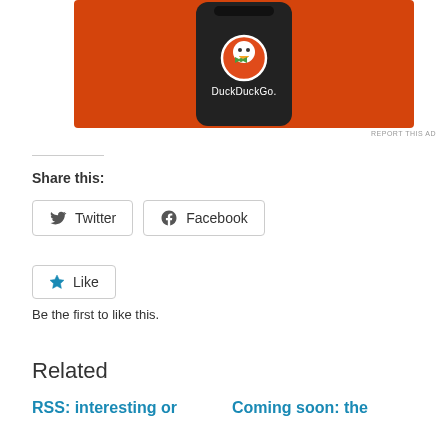[Figure (screenshot): DuckDuckGo app logo on a smartphone screen against an orange background]
REPORT THIS AD
Share this:
[Figure (other): Twitter share button]
[Figure (other): Facebook share button]
[Figure (other): Like button with star icon]
Be the first to like this.
Related
RSS: interesting or
Coming soon: the